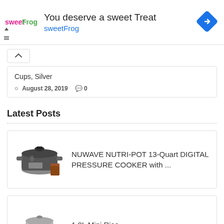[Figure (screenshot): sweetFrog advertisement banner with logo, headline 'You deserve a sweet Treat', brand name 'sweetFrog', navigation controls and direction icon]
Cups, Silver
August 28, 2019  0
Latest Posts
NUWAVE NUTRI-POT 13-Quart DIGITAL PRESSURE COOKER with ...
1.0L Mini Rice